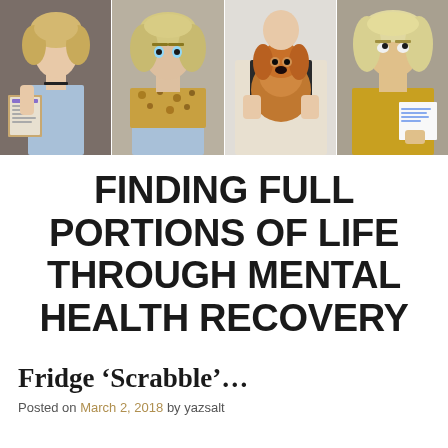[Figure (photo): A strip of four photos: (1) a young woman with curly blonde hair holding a framed sign, (2) a woman with curly blonde hair wearing a leopard-print scarf, (3) a woman holding a fluffy golden/brown puppy, (4) a woman with curly blonde hair holding a handwritten note.]
FINDING FULL PORTIONS OF LIFE THROUGH MENTAL HEALTH RECOVERY
Fridge ‘Scrabble’…
Posted on March 2, 2018 by yazsalt